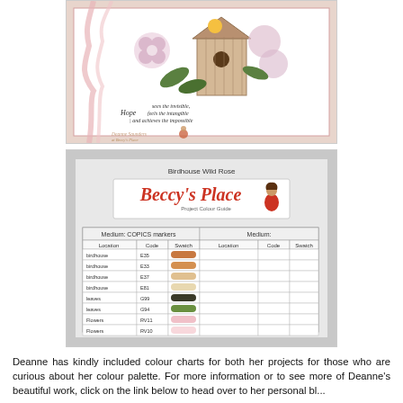[Figure (photo): A crafting card with a birdhouse and floral design, featuring a pink ribbon, a quote reading 'Hope sees the invisible, feels the intangible and achieves the impossible', and a watermark for Deanne Saunders at Beccy's Place.]
[Figure (photo): Beccy's Place Project Colour Guide card titled 'Birdhouse Wild Rose' showing a table of Copic marker codes and colour swatches for birdhouse, leaves, and flowers locations.]
Deanne has kindly included colour charts for both her projects for those who are curious about her colour palette. For more information or to see more of Deanne's beautiful work, click on the link below to head over to her personal bl...